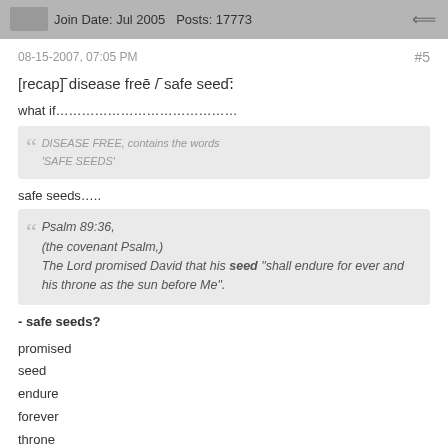Join Date: Jul 2005  Posts: 17773
08-15-2007, 07:05 PM    #5
[recap] ¨disease free¨ / ¨safe seed:¨
what if……………………………………
DISEASE FREE, contains the words 'SAFE SEEDS'
safe seeds…..
Psalm 89:36, (the covenant Psalm,) The Lord promised David that his seed "shall endure for ever and his throne as the sun before Me".
- safe seeds?
promised
seed
endure
forever
throne
Beside, Zion divine purpose the years of.......as a child